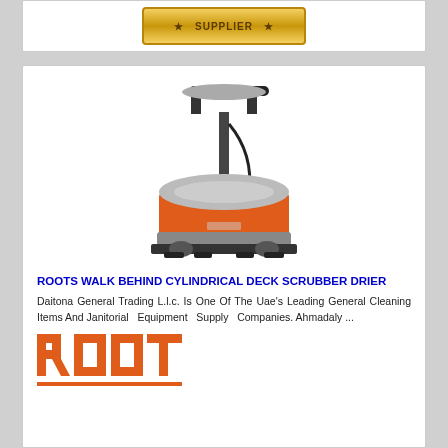[Figure (photo): Gold/yellow badge or award button, partially visible at top of page]
[Figure (photo): Orange and grey walk-behind floor scrubber/drier machine with handle and wheels]
ROOTS WALK BEHIND CYLINDRICAL DECK SCRUBBER DRIER
Daitona General Trading L.l.c. Is One Of The Uae's Leading General Cleaning Items And Janitorial Equipment Supply Companies. Ahmadaly ...
[Figure (logo): ROOTS brand logo in orange color, partially visible at bottom]